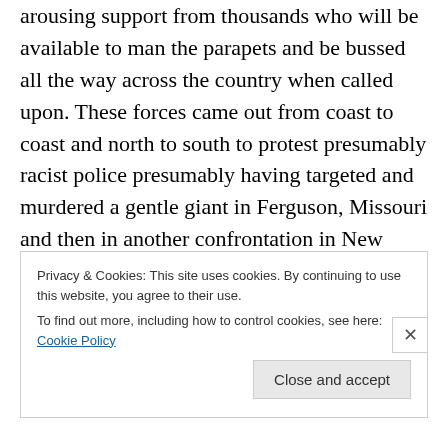arousing support from thousands who will be available to man the parapets and be bussed all the way across the country when called upon. These forces came out from coast to coast and north to south to protest presumably racist police presumably having targeted and murdered a gentle giant in Ferguson, Missouri and then in another confrontation in New York City and these demonstrations have been sustained for months even despite the murder of two police sitting in their cruiser in New York and the shooting and severely injured two police standing in front
Privacy & Cookies: This site uses cookies. By continuing to use this website, you agree to their use.
To find out more, including how to control cookies, see here: Cookie Policy